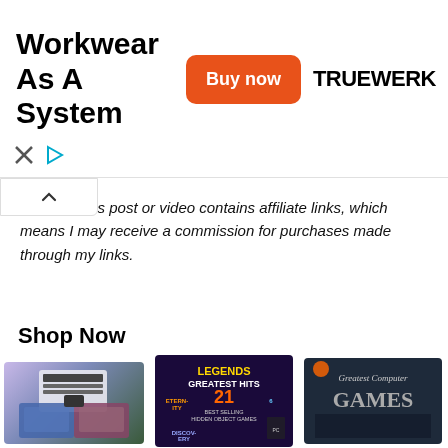[Figure (infographic): Advertisement banner for Truewerk workwear brand with 'Workkwear As A System' title, orange 'Buy now' button, and TRUEWERK logo]
closure: This post or video contains affiliate links, which means I may receive a commission for purchases made through my links.
Shop Now
[Figure (photo): Code Piano S.T.... product image]
[Figure (photo): Legends Greatest Hi... product image showing Legends Greatest Hits game cover]
[Figure (photo): Greatest Comput... product image showing Greatest Computer Games cover]
Code Piano S.T....
Legends Greatest Hi...
Greatest Comput...
$44.99 prime (135)
$27.95 prime (81)
$60.46 prime (9)